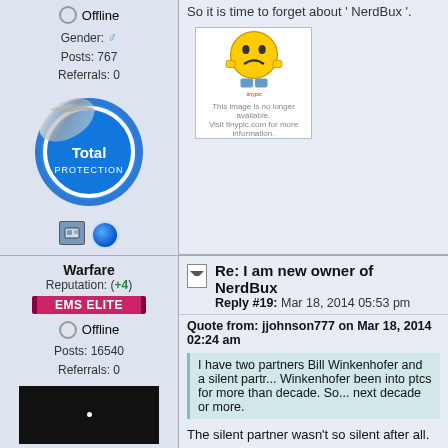So it is time to forget about 'NerdBux'.
[Figure (illustration): Broken image placeholder with sad smiley face emoji and tinypic watermark]
Warfare
Reputation: (+4)
EMS ELITE
Offline
Posts: 16540
Referrals: 0
[Figure (photo): Black avatar image for user Warfare]
Re: I am new owner of NerdBux
Reply #19: Mar 18, 2014 05:53 pm
Quote from: jjohnson777 on Mar 18, 2014 02:24 am
I have two partners Bill Winkenhofer and a silent partner. Bill Winkenhofer been into ptcs for more than decade. So we expect to be around for next decade or more.
The silent partner wasn't so silent after all.
His name was visible for some time before it was e
International GPT | Trusted PTC | $0.05-$0.10
#1 Crypto Exchange | Reliable host